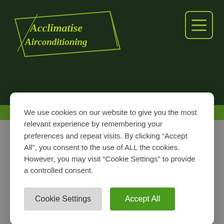[Figure (logo): Acclimatise Airconditioning logo — stylized parallelogram shape with italic serif text 'Acclimatise Airconditioning' in olive/yellow-green on dark green background]
We use cookies on our website to give you the most relevant experience by remembering your preferences and repeat visits. By clicking “Accept All”, you consent to the use of ALL the cookies. However, you may visit “Cookie Settings” to provide a controlled consent.
Cookie Settings
Accept All
Blog Posts / 13/01/2021